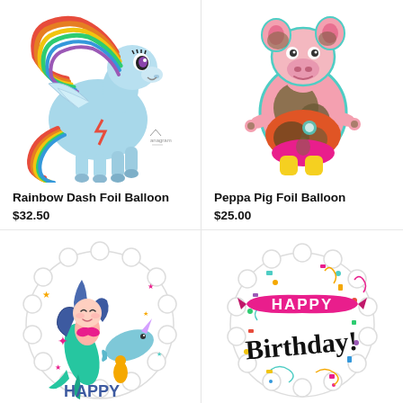[Figure (illustration): Rainbow Dash My Little Pony foil balloon — blue pony with rainbow mane and tail, with small Anagram logo]
Rainbow Dash Foil Balloon
$32.50
[Figure (illustration): Peppa Pig foil balloon — Peppa Pig character covered in mud, wearing a dress]
Peppa Pig Foil Balloon
$25.00
[Figure (illustration): Round mermaid Happy Birthday foil balloon with mermaid and narwhal sea creatures, text HAPPY at bottom]
[Figure (illustration): Round Happy Birthday foil balloon with colorful confetti pattern, HAPPY on pink banner, Birthday! in large black script]